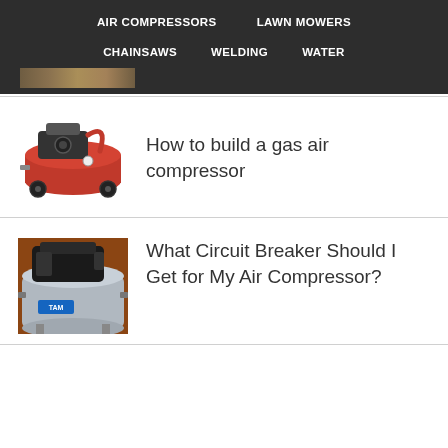AIR COMPRESSORS   LAWN MOWERS   CHAINSAWS   WELDING   WATER
[Figure (photo): Partial image of outdoor/garden scene visible at bottom of navigation bar]
[Figure (illustration): Red gas air compressor with black engine on top]
How to build a gas air compressor
[Figure (photo): Photo of an air compressor tank with black motor on top, blue label visible]
What Circuit Breaker Should I Get for My Air Compressor?